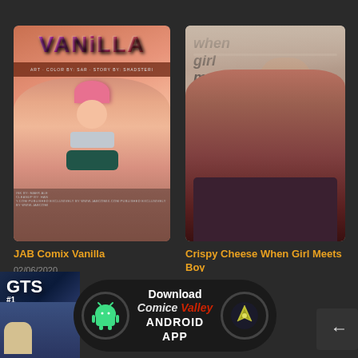[Figure (illustration): Comic book cover: JAB Comix Vanilla - anime-style illustration with pink-haired character]
JAB Comix Vanilla
02/06/2020
[Figure (photo): Comic cover: Crispy Cheese When Girl Meets Boy - photorealistic 3D render of woman in red corset and plaid skirt]
Crispy Cheese When Girl Meets Boy
19/08/2020
[Figure (illustration): Bottom app download banner showing Android robot icon, Comics Valley logo, and text: Download Comice Valley ANDROID APP. Partial GTS comic visible on left.]